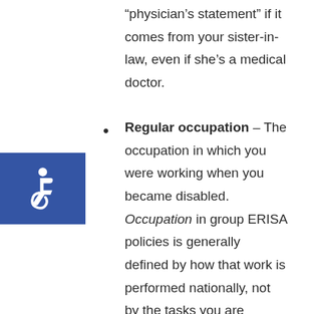"physician's statement" if it comes from your sister-in-law, even if she's a medical doctor.
Regular occupation – The occupation in which you were working when you became disabled. Occupation in group ERISA policies is generally defined by how that work is performed nationally, not by the tasks you are specifically instructed to perform in the course of your occupation for your specific employer. Some individual and group disability insurance policies, however, may define your regular occupation as